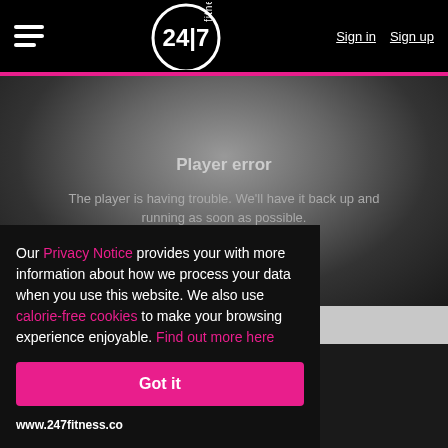24/7 Fitness — Sign in | Sign up
[Figure (screenshot): Player error screen with gradient grey background. Text: 'Player error' and 'The player is having trouble. We'll have it back up and running as soon as possible.']
Our Privacy Notice provides your with more information about how we process your data when you use this website. We also use calorie-free cookies to make your browsing experience enjoyable. Find out more here
Got it
www.247fitness.co